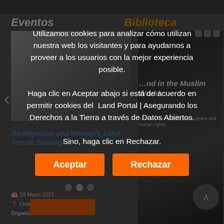Eventos
Biblioteca
[Figure (screenshot): Website screenshot showing Eventos and Biblioteca sections with carousel and event/library cards in Spanish, partially obscured by cookie consent overlay]
Utilizamos cookies para analizar cómo utilizan nuestra web los visitantes y para ayudarnos a proveer a los usuarios con la mejor experiencia posible. Haga clic en Aceptar abajo si está de acuerdo en permitir cookies del Land Portal | Asegurando los Derechos a la Tierra a través de Datos Abiertos. Sino, haga clic en Rechazar.
Aceptar
Rechazar
On Migration and Women's Land Tenure Security in
19 Mayo 2021
Online
Organizers: Research Forum
Land in the Muslim World
Informes e investigaciones
Febrero 2018